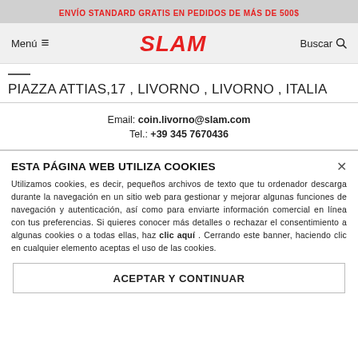ENVÍO STANDARD GRATIS EN PEDIDOS DE MÁS DE 500$
[Figure (logo): SLAM brand logo in red, with navigation menu and search icons on either side]
PIAZZA ATTIAS,17 , LIVORNO , LIVORNO , ITALIA
Email: coin.livorno@slam.com
Tel.: +39 345 7670436
ESTA PÁGINA WEB UTILIZA COOKIES
Utilizamos cookies, es decir, pequeños archivos de texto que tu ordenador descarga durante la navegación en un sitio web para gestionar y mejorar algunas funciones de navegación y autenticación, así como para enviarte información comercial en línea con tus preferencias. Si quieres conocer más detalles o rechazar el consentimiento a algunas cookies o a todas ellas, haz clic aquí . Cerrando este banner, haciendo clic en cualquier elemento aceptas el uso de las cookies.
ACEPTAR Y CONTINUAR